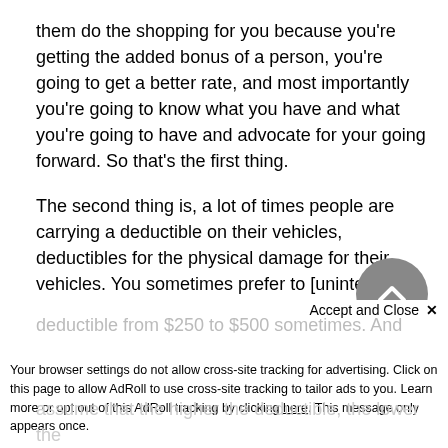them do the shopping for you because you're getting the added bonus of a person, you're going to get a better rate, and most importantly you're going to know what you have and what you're going to have and advocate for your going forward. So that's the first thing.
The second thing is, a lot of times people are carrying a deductible on their vehicles, deductibles for the physical damage for their vehicles. You sometimes prefer to [unintelligible 04:33 – 04:33] or collision other than collision. And that's basically the amount of money you're going to pay to fix your car in the event of the accident. You've heard of that with that sort of terminology you're used to hearing?
Maureen: Yes [unintelligible 04:47 – 04:47] collision as what I used to hearing.
Karl: So, normally there is a deductible. People will carry a deductible from $250 to $500 sometimes. And...
assume that the higher the deductible, the lower the...